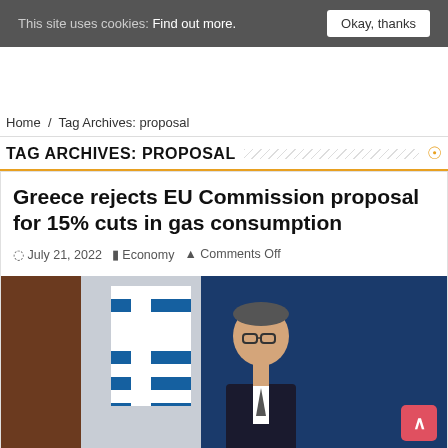This site uses cookies: Find out more.   Okay, thanks
Home / Tag Archives: proposal
TAG ARCHIVES: PROPOSAL
Greece rejects EU Commission proposal for 15% cuts in gas consumption
July 21, 2022   Economy   Comments Off
[Figure (photo): Photo of a man in a suit speaking at a podium with a Greek flag in the background against a blue backdrop]